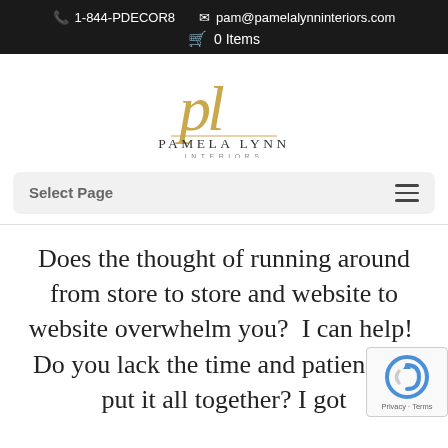1-844-PDECOR8  pam@pamelalynninteriors.com  0 Items
[Figure (logo): Pamela Lynn Interiors logo with stylized 'pl' script in gold and text 'PAMELA LYNN INTERIORS' below]
Select Page
Does the thought of running around from store to store and website to website overwhelm you?  I can help!  Do you lack the time and patience to put it all together? I got